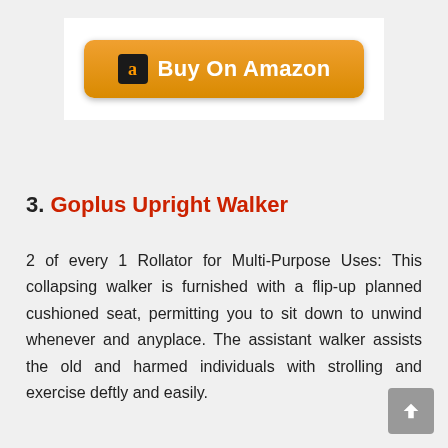[Figure (screenshot): Orange 'Buy On Amazon' button with Amazon logo on white background]
3. Goplus Upright Walker
2 of every 1 Rollator for Multi-Purpose Uses: This collapsing walker is furnished with a flip-up planned cushioned seat, permitting you to sit down to unwind whenever and anyplace. The assistant walker assists the old and harmed individuals with strolling and exercise deftly and easily.